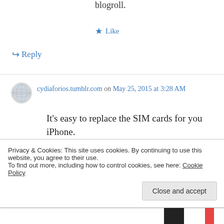blogroll.
★ Like
↪ Reply
cydiaforios.tumblr.com on May 25, 2015 at 3:28 AM
It's easy to replace the SIM cards for you iPhone.
There's no doubt you can make your iPhone do ridiculous
Privacy & Cookies: This site uses cookies. By continuing to use this website, you agree to their use.
To find out more, including how to control cookies, see here: Cookie Policy
Close and accept